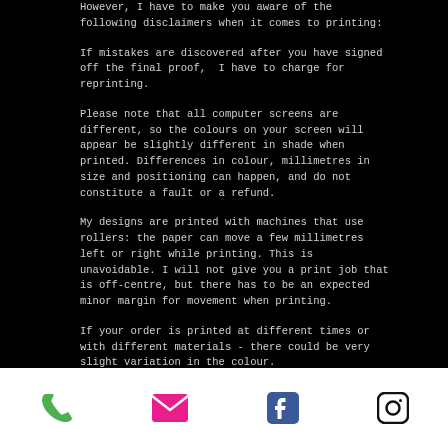However, I have to make you aware of the following disclaimers when it comes to printing:
If mistakes are discovered after you have signed off the final proof,  I have to charge for reprinting.
Please note that all computer screens are different, so the colours on your screen will appear be slightly different in shade when printed. Differences in colour, millimetres in size and positioning can happen, and do not constitute a fault or a refund.
My designs are printed with machines that use rollers: the paper can move a few millimetres left or right while printing. This is unavoidable. I will not give you a print job that is off-centre, but there has to be an expected minor margin for movement when printing.
If your order is printed at different times or with different materials - there could be very slight variation in the colour.
Bespoke samples: can be ordered on request, and
[Figure (infographic): Footer bar with four icons: green phone, pink/magenta email envelope, blue Facebook logo, black Instagram camera outline logo]